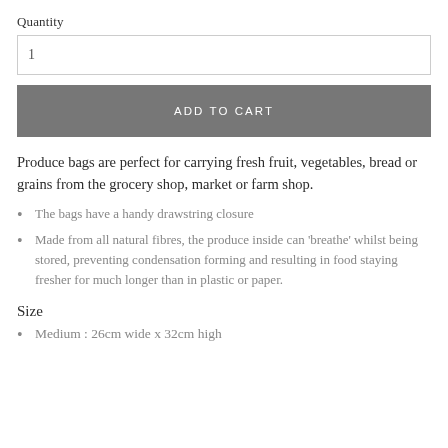Quantity
1
ADD TO CART
Produce bags are perfect for carrying fresh fruit, vegetables, bread or grains from the grocery shop, market or farm shop.
The bags have a handy drawstring closure
Made from all natural fibres, the produce inside can 'breathe' whilst being stored, preventing condensation forming and resulting in food staying fresher for much longer than in plastic or paper.
Size
Medium : 26cm wide x 32cm high